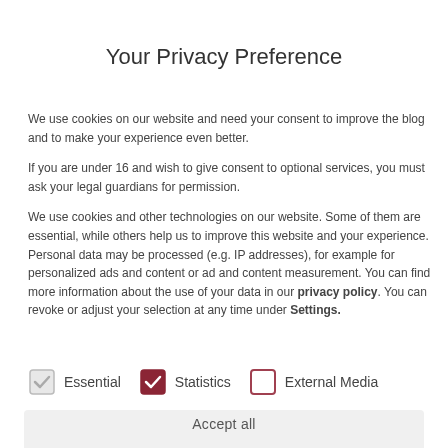Your Privacy Preference
We use cookies on our website and need your consent to improve the blog and to make your experience even better.
If you are under 16 and wish to give consent to optional services, you must ask your legal guardians for permission.
We use cookies and other technologies on our website. Some of them are essential, while others help us to improve this website and your experience. Personal data may be processed (e.g. IP addresses), for example for personalized ads and content or ad and content measurement. You can find more information about the use of your data in our privacy policy. You can revoke or adjust your selection at any time under Settings.
Essential
Statistics
External Media